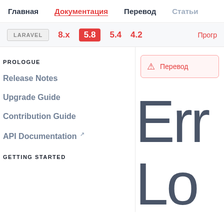Главная  Документация  Перевод  Статьи
LARAVEL  8.x  5.8  5.4  4.2  Прогр
PROLOGUE
Release Notes
Upgrade Guide
Contribution Guide
API Documentation ↗
GETTING STARTED
Перевод
[Figure (screenshot): Error page showing large text 'Err' and 'Lo' in light gray thin font, partially visible]